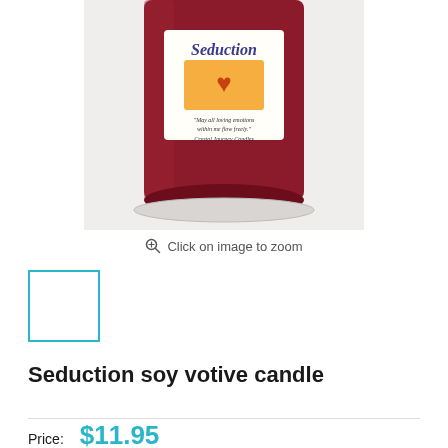[Figure (photo): Close-up photo of a red/maroon soy votive candle with a white label reading 'Seduction', featuring an orange heart illustration and the text 'May all loving emotions within me flow freely. Crystal Journey Candles']
Click on image to zoom
[Figure (photo): Small thumbnail of the Seduction soy votive candle, selected with a teal/cyan border]
Seduction soy votive candle
Price: $11.95